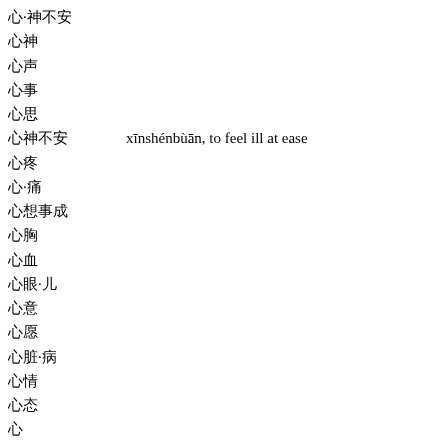心·神不安
心神
心声
心事
心思
心神不安    xīnshénbùān, to feel ill at ease
心疼
心·痛
心想事成
心胸
心血
心眼·儿
心意
心愿
心脏·病
心情
心态
心